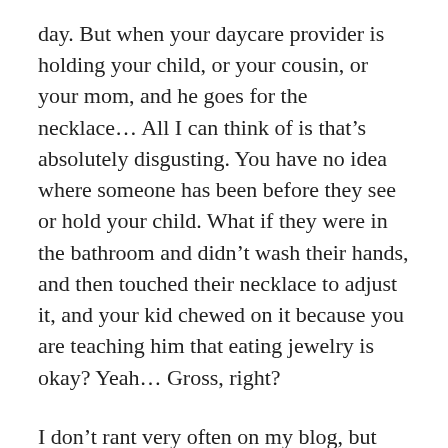day. But when your daycare provider is holding your child, or your cousin, or your mom, and he goes for the necklace… All I can think of is that's absolutely disgusting. You have no idea where someone has been before they see or hold your child. What if they were in the bathroom and didn't wash their hands, and then touched their necklace to adjust it, and your kid chewed on it because you are teaching him that eating jewelry is okay? Yeah… Gross, right?
I don't rant very often on my blog, but I've seen so many of these necklaces mentioned on blogs and giveaways and they annoy me sooooooo much when I think about all the germs. Soooo grossss.